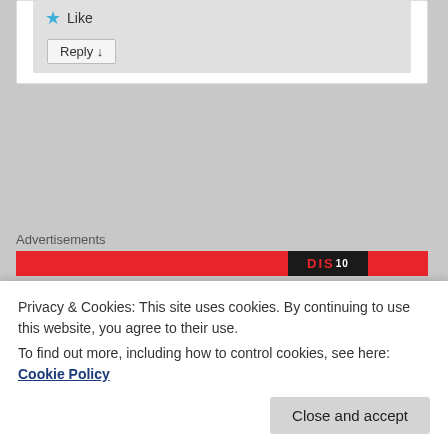[Figure (other): Star Like button and Reply button inside a gray comment box area]
Advertisements
[Figure (other): Red advertisement banner with dark overlay element showing partial text]
[Figure (other): User avatar placeholder (gray square with circle) in comment card]
Privacy & Cookies: This site uses cookies. By continuing to use this website, you agree to their use.
To find out more, including how to control cookies, see here: Cookie Policy
Close and accept
worried I might fall off the wagon, so how do you